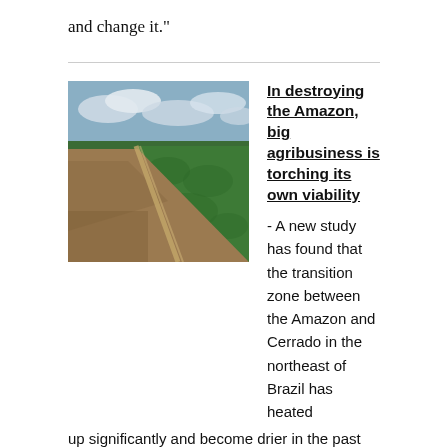and change it."
[Figure (photo): Aerial view of the Amazon rainforest showing deforestation — a sharp boundary between cleared brown land and dense green forest with a dirt road dividing them, under a partly cloudy sky.]
In destroying the Amazon, big agribusiness is torching its own viability
- A new study has found that the transition zone between the Amazon and Cerrado in the northeast of Brazil has heated up significantly and become drier in the past two decades.- The research points to deforestation in the Amazon and global climate changes as factors prolonging the dry season and warming up the region, leaving it susceptible to severe droughts and forest fires.- Ironically, the changes being driven by the intensified agricultural activity are rendering the region